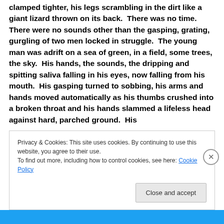clamped tighter, his legs scrambling in the dirt like a giant lizard thrown on its back.  There was no time.  There were no sounds other than the gasping, grating, gurgling of two men locked in struggle.  The young man was adrift on a sea of green, in a field, some trees, the sky.  His hands, the sounds, the dripping and spitting saliva falling in his eyes, now falling from his mouth.  His gasping turned to sobbing, his arms and hands moved automatically as his thumbs crushed into a broken throat and his hands slammed a lifeless head against hard, parched ground.  His
Privacy & Cookies: This site uses cookies. By continuing to use this website, you agree to their use.
To find out more, including how to control cookies, see here: Cookie Policy
Close and accept